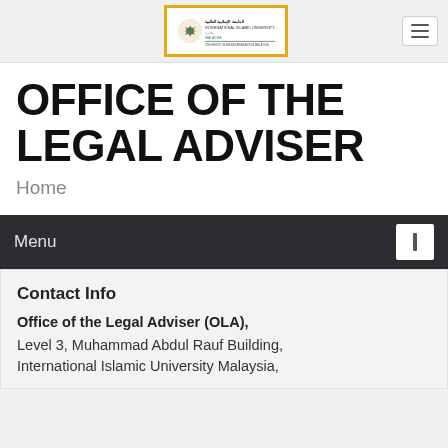[Figure (logo): International Islamic University Malaysia logo with geometric emblem and Arabic/English text, inside an orange-bordered white box]
OFFICE OF THE LEGAL ADVISER
Home
Menu
Contact Info
Office of the Legal Adviser (OLA), Level 3, Muhammad Abdul Rauf Building, International Islamic University Malaysia,